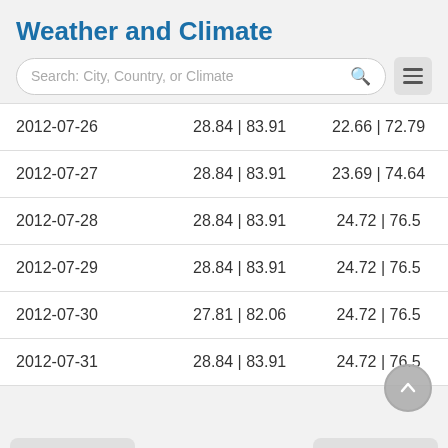Weather and Climate
Search: City, Country, or Climate
| Date | Max Temp | Min Temp |
| --- | --- | --- |
| 2012-07-26 | 28.84 | 83.91 | 22.66 | 72.79 |
| 2012-07-27 | 28.84 | 83.91 | 23.69 | 74.64 |
| 2012-07-28 | 28.84 | 83.91 | 24.72 | 76.5 |
| 2012-07-29 | 28.84 | 83.91 | 24.72 | 76.5 |
| 2012-07-30 | 27.81 | 82.06 | 24.72 | 76.5 |
| 2012-07-31 | 28.84 | 83.91 | 24.72 | 76.5 |
← Prev Month    Next Month →